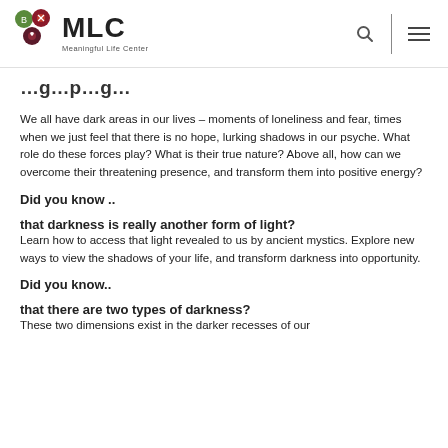MLC Meaningful Life Center
… g … p g …
We all have dark areas in our lives – moments of loneliness and fear, times when we just feel that there is no hope, lurking shadows in our psyche. What role do these forces play? What is their true nature? Above all, how can we overcome their threatening presence, and transform them into positive energy?
Did you know ..
that darkness is really another form of light?
Learn how to access that light revealed to us by ancient mystics. Explore new ways to view the shadows of your life, and transform darkness into opportunity.
Did you know..
that there are two types of darkness?
These two dimensions exist in the darker recesses of our …